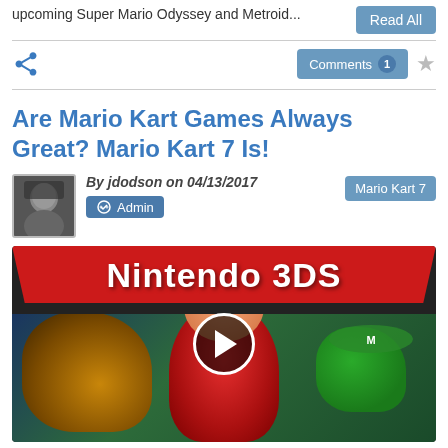upcoming Super Mario Odyssey and Metroid...
Read All
Comments 1
Are Mario Kart Games Always Great? Mario Kart 7 Is!
By jdodson on 04/13/2017
Admin
Mario Kart 7
[Figure (screenshot): Nintendo 3DS promotional video thumbnail for Mario Kart 7 featuring Mario, Bowser, and Luigi racing, with a play button overlay]